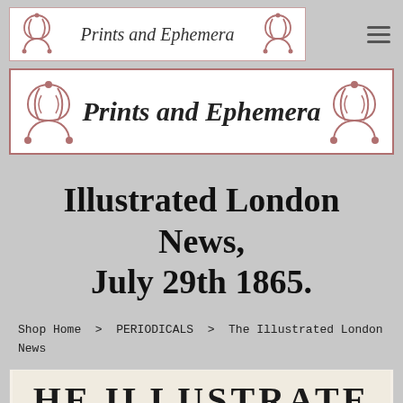[Figure (logo): Small 'Prints and Ephemera' logo banner with decorative ornaments on left and right, italic text in center, white background with pink/mauve border. Hamburger menu icon to the right.]
[Figure (logo): Large 'Prints and Ephemera' logo banner with decorative scroll ornaments on left and right, bold italic text in center, white background with pink/mauve border.]
Illustrated London News, July 29th 1865.
Shop Home > PERIODICALS > The Illustrated London News
[Figure (illustration): Partial view of an old newspaper masthead showing 'THE ILLUSTRATE' (cropped) in large serif display lettering on aged paper background.]